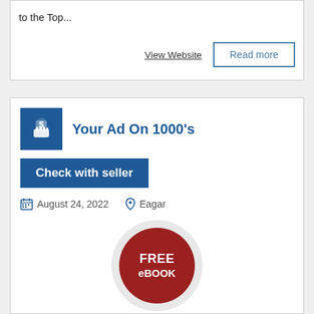to the Top...
View Website
Read more
Your Ad On 1000's
Check with seller
August 24, 2022
Eagar
[Figure (illustration): FREE eBOOK red circular badge]
Your Classified Ad Promoted to 1000's+ Ads...